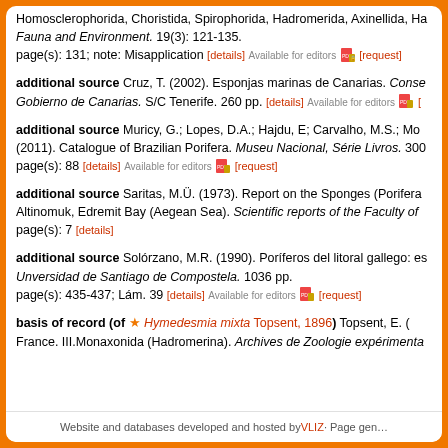Homosclerophorida, Choristida, Spirophorida, Hadromerida, Axinellida, Ha… Fauna and Environment. 19(3): 121-135. page(s): 131; note: Misapplication [details] Available for editors [request]
additional source Cruz, T. (2002). Esponjas marinas de Canarias. Conse… Gobierno de Canarias. S/C Tenerife. 260 pp. [details] Available for editors [request]
additional source Muricy, G.; Lopes, D.A.; Hajdu, E; Carvalho, M.S.; Mo… (2011). Catalogue of Brazilian Porifera. Museu Nacional, Série Livros. 300 page(s): 88 [details] Available for editors [request]
additional source Saritas, M.Ü. (1973). Report on the Sponges (Porifera… Altinomuk, Edremit Bay (Aegean Sea). Scientific reports of the Faculty of … page(s): 7 [details]
additional source Solórzano, M.R. (1990). Poríferos del litoral gallego: es… Unversidad de Santiago de Compostela. 1036 pp. page(s): 435-437; Lám. 39 [details] Available for editors [request]
basis of record (of ★ Hymedesmia mixta Topsent, 1896) Topsent, E. (… France. III.Monaxonida (Hadromerina). Archives de Zoologie expérimenta…
Website and databases developed and hosted by VLIZ · Page gen…